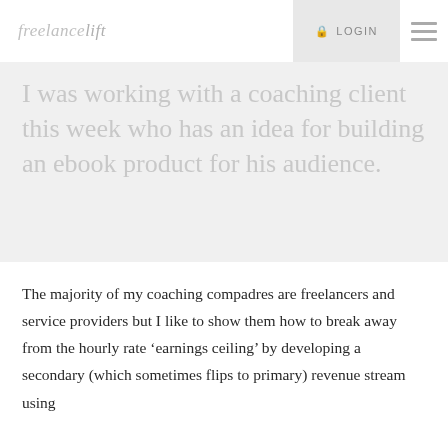freelancelift | LOGIN
I was working with a coaching client this week who has an idea for building an ebook product for his audience.
The majority of my coaching compadres are freelancers and service providers but I like to show them how to break away from the hourly rate 'earnings ceiling' by developing a secondary (which sometimes flips to primary) revenue stream using